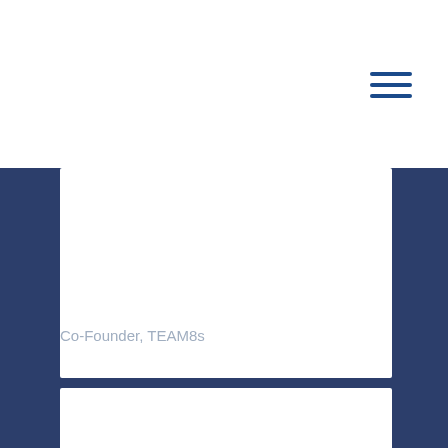[Figure (illustration): Hamburger menu icon with three horizontal blue lines in the top-right area]
[Figure (photo): White rectangular photo card placeholder on dark navy background]
Chacko Thomas
Co-Founder, TEAM8s
[Figure (photo): White rectangular photo card placeholder at bottom on dark navy background]